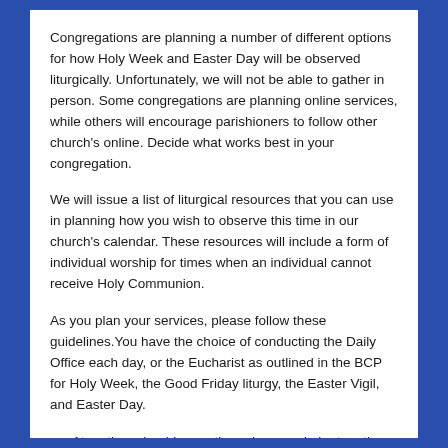Congregations are planning a number of different options for how Holy Week and Easter Day will be observed liturgically. Unfortunately, we will not be able to gather in person. Some congregations are planning online services, while others will encourage parishioners to follow other church's online. Decide what works best in your congregation.
We will issue a list of liturgical resources that you can use in planning how you wish to observe this time in our church's calendar. These resources will include a form of individual worship for times when an individual cannot receive Holy Communion.
As you plan your services, please follow these guidelines. You have the choice of conducting the Daily Office each day, or the Eucharist as outlined in the BCP for Holy Week, the Good Friday liturgy, the Easter Vigil, and Easter Day.
At no time should more than nine people be together in church or in home worship, and they must always practice social distancing.